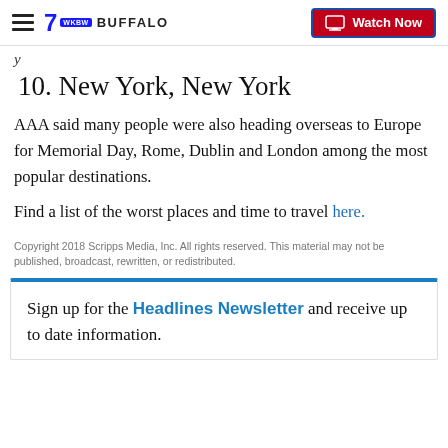7 BUFFALO — Watch Now
10. New York, New York
AAA said many people were also heading overseas to Europe for Memorial Day, Rome, Dublin and London among the most popular destinations.
Find a list of the worst places and time to travel here.
Copyright 2018 Scripps Media, Inc. All rights reserved. This material may not be published, broadcast, rewritten, or redistributed.
Sign up for the Headlines Newsletter and receive up to date information.